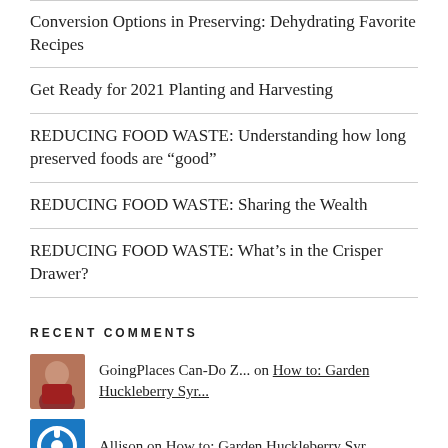Conversion Options in Preserving: Dehydrating Favorite Recipes
Get Ready for 2021 Planting and Harvesting
REDUCING FOOD WASTE: Understanding how long preserved foods are “good”
REDUCING FOOD WASTE: Sharing the Wealth
REDUCING FOOD WASTE: What’s in the Crisper Drawer?
RECENT COMMENTS
GoingPlaces Can-Do Z... on How to: Garden Huckleberry Syr...
Allison on How to: Garden Huckleberry Syr...